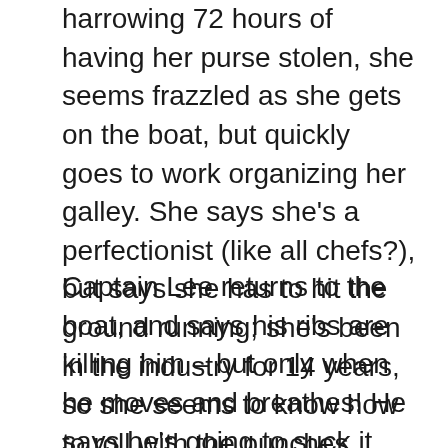harrowing 72 hours of having her purse stolen, she seems frazzled as she gets on the boat, but quickly goes to work organizing her galley. She says she's a perfectionist (like all chefs?), but says she has to hit the ground running; she's been in the industry for 14 years, so she seems to know how to roll with the punches (unlike Kiko and Tom from Below Deck Med #TooSoon?).
Captain Lee returns to the boat, and says his ribs are killing him – but only when he moves and breathes! He says he's going to suck it up, and get to work, as a crusty sea captain would do. He has a meeting with the crew, and apologizes for not being on the boat; he then lays down the law: don't embarrass the boat or themselves. In an interview, he says he's not going to have a repeat of last